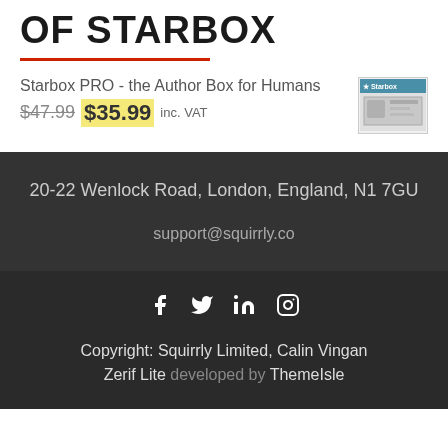OF STARBOX
Starbox PRO - the Author Box for Humans $47.99 $35.99 inc. VAT
[Figure (screenshot): Starbox plugin product thumbnail showing a screen/dashboard interface]
20-22 Wenlock Road, London, England, N1 7GU
support@squirrly.co
[Figure (infographic): Social media icons: Facebook, Twitter, LinkedIn, Instagram]
Copyright: Squirrly Limited, Calin Vingan Zerif Lite developed by ThemeIsle